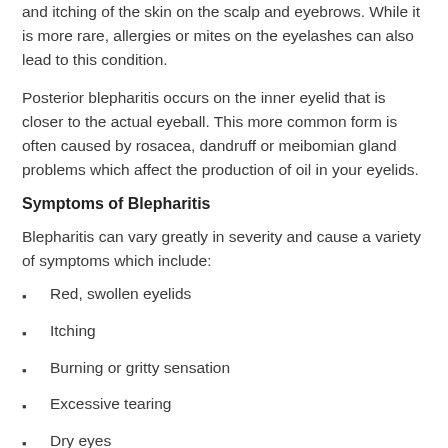and itching of the skin on the scalp and eyebrows. While it is more rare, allergies or mites on the eyelashes can also lead to this condition.
Posterior blepharitis occurs on the inner eyelid that is closer to the actual eyeball. This more common form is often caused by rosacea, dandruff or meibomian gland problems which affect the production of oil in your eyelids.
Symptoms of Blepharitis
Blepharitis can vary greatly in severity and cause a variety of symptoms which include:
Red, swollen eyelids
Itching
Burning or gritty sensation
Excessive tearing
Dry eyes
Crusting on eyelids